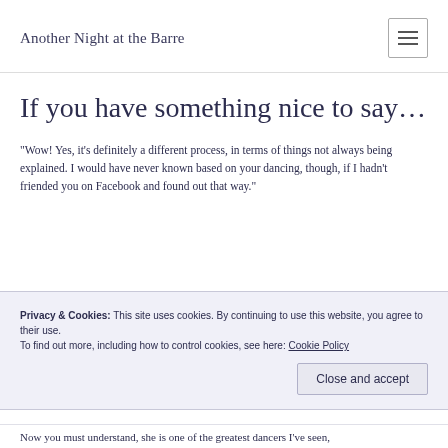Another Night at the Barre
If you have something nice to say…
“Wow! Yes, it’s definitely a different process, in terms of things not always being explained. I would have never known based on your dancing, though, if I hadn’t friended you on Facebook and found out that way.”
Privacy & Cookies: This site uses cookies. By continuing to use this website, you agree to their use. To find out more, including how to control cookies, see here: Cookie Policy
Now you must understand, she is one of the greatest dancers I’ve seen,